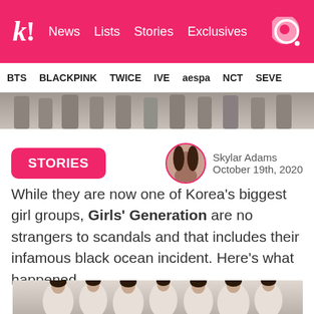k! News  Lists  Stories  Exclusives
BTS  BLACKPINK  TWICE  IVE  aespa  NCT  SEVE
[Figure (photo): Cropped photo of Girls Generation members legs/lower bodies in black and white outfits]
STORIES
Skylar Adams
October 19th, 2020
[Figure (photo): Author avatar portrait of Skylar Adams]
While they are now one of Korea's biggest girl groups, Girls' Generation are no strangers to scandals and that includes their infamous black ocean incident. Here's what happened.
[Figure (photo): Group photo of Girls Generation members in white outfits against grey background]